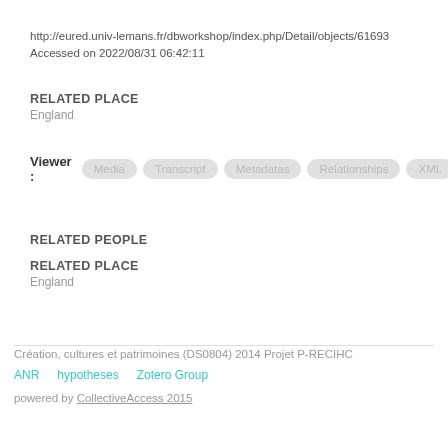http://eured.univ-lemans.fr/dbworkshop/index.php/Detail/objects/61693
Accessed on 2022/08/31 06:42:11
RELATED PLACE
England
Viewer : Media  Transcript  Metadatas  Relationships  XML
RELATED PEOPLE
RELATED PLACE
England
Création, cultures et patrimoines (DS0804) 2014 Projet P-RECIHC
ANR    hypotheses    Zotero Group
powered by CollectiveAccess 2015